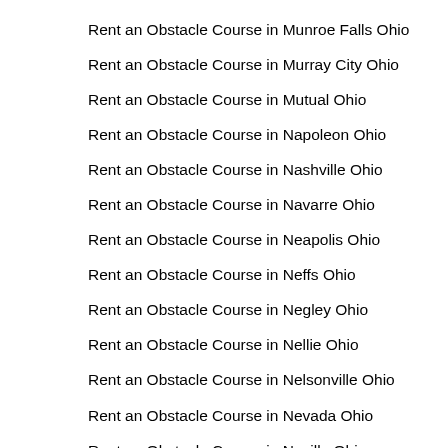Rent an Obstacle Course in Munroe Falls Ohio
Rent an Obstacle Course in Murray City Ohio
Rent an Obstacle Course in Mutual Ohio
Rent an Obstacle Course in Napoleon Ohio
Rent an Obstacle Course in Nashville Ohio
Rent an Obstacle Course in Navarre Ohio
Rent an Obstacle Course in Neapolis Ohio
Rent an Obstacle Course in Neffs Ohio
Rent an Obstacle Course in Negley Ohio
Rent an Obstacle Course in Nellie Ohio
Rent an Obstacle Course in Nelsonville Ohio
Rent an Obstacle Course in Nevada Ohio
Rent an Obstacle Course in Neville Ohio
Rent an Obstacle Course in New Albany Ohio
Rent an Obstacle Course in New Alexandria Ohio
Rent an Obstacle Course in New Athens Ohio
Rent an Obstacle Course in New Baltimore Ohio
Rent an Obstacle Course in New Bavaria Ohio
Rent an Obstacle Course in New Bloomington Ohio
Rent an Obstacle Course in New Boston Ohio
Rent an Obstacle Course in New Bremen Ohio
Rent an Obstacle Course in New Burlington Ohio
Rent an Obstacle Course in New California Ohio
Rent an Obstacle Course in New Carlisle Ohio
Rent an Obstacle Course in New Concord Ohio
Rent an Obstacle Course in New Franklin Ohio
Rent an Obstacle Course in New Hampshire Ohio